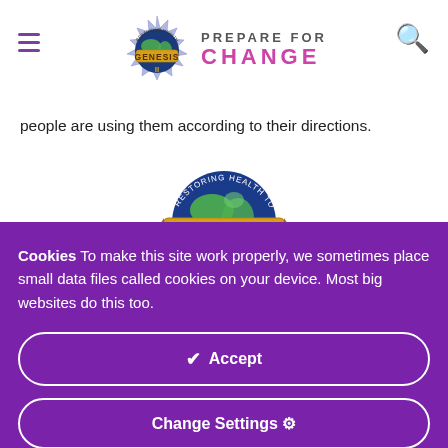Prepare For Change
people are using them according to their directions.
[Figure (logo): Genesis II Church of Health and Healing logo — globe with gold banner reading GENESIS II, arc text reading RESTORING HEALTH TO THE WORLD]
Cookies To make this site work properly, we sometimes place small data files called cookies on your device. Most big websites do this too.
✔ Accept
Change Settings ⚙